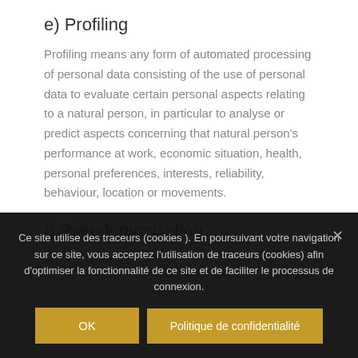e) Profiling
Profiling means any form of automated processing of personal data consisting of the use of personal data to evaluate certain personal aspects relating to a natural person, in particular to analyse or predict aspects concerning that natural person's performance at work, economic situation, health, personal preferences, interests, reliability, behaviour, location or movements.
f) Pseudonymisation
Ce site utilise des traceurs (cookies ). En poursuivant votre navigation sur ce site, vous acceptez l'utilisation de traceurs (cookies) afin d'optimiser la fonctionnalité de ce site et de faciliter le processus de connexion.